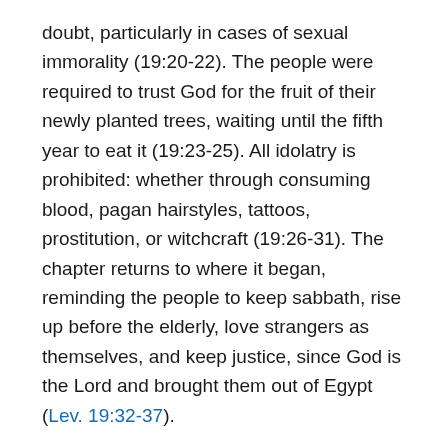doubt, particularly in cases of sexual immorality (19:20-22). The people were required to trust God for the fruit of their newly planted trees, waiting until the fifth year to eat it (19:23-25). All idolatry is prohibited: whether through consuming blood, pagan hairstyles, tattoos, prostitution, or witchcraft (19:26-31). The chapter returns to where it began, reminding the people to keep sabbath, rise up before the elderly, love strangers as themselves, and keep justice, since God is the Lord and brought them out of Egypt (Lev. 19:32-37).
LOVE YOUR NEIGHBOR AS YOURSELF
Jesus and the New Testament writers repeatedly